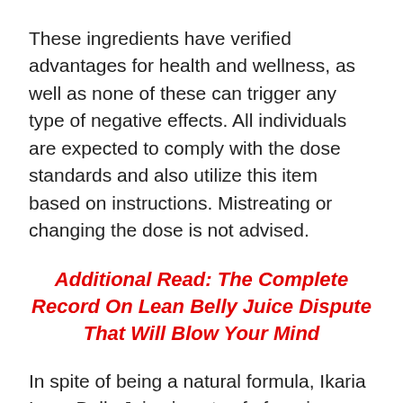These ingredients have verified advantages for health and wellness, as well as none of these can trigger any type of negative effects. All individuals are expected to comply with the dose standards and also utilize this item based on instructions. Mistreating or changing the dose is not advised.
Additional Read: The Complete Record On Lean Belly Juice Dispute That Will Blow Your Mind
In spite of being a natural formula, Ikaria Lean Belly Juice is not safe for minor individuals, expecting and also nursing mothers, as well as individuals with metabolic disorders impacting their weight.